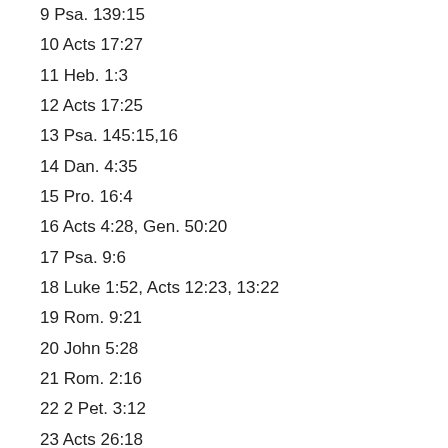9 Psa. 139:15
10 Acts 17:27
11 Heb. 1:3
12 Acts 17:25
13 Psa. 145:15,16
14 Dan. 4:35
15 Pro. 16:4
16 Acts 4:28, Gen. 50:20
17 Psa. 9:6
18 Luke 1:52, Acts 12:23, 13:22
19 Rom. 9:21
20 John 5:28
21 Rom. 2:16
22 2 Pet. 3:12
23 Acts 26:18
24 Pro. 1:25
25 Matt. 7:23, Rev. 14:10
26 Acts 17:31